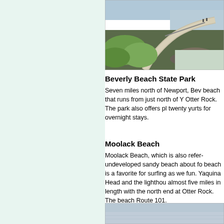[Figure (photo): Aerial or elevated view of a coastal path/road curving along a rocky cliff with ocean waves and sandy beach below, with green vegetation in foreground]
Beverly Beach State Park
Seven miles north of Newport, Bev... beach that runs from just north of Y... Otter Rock. The park also offers pl... twenty yurts for overnight stays.
Moolack Beach
Moolack Beach, which is also refer... undeveloped sandy beach about fo... beach is a favorite for surfing as we... fun. Yaquina Head and the lighthou... almost five miles in length with the... north end at Otter Rock. The beach... Route 101.
[Figure (photo): Coastal beach scene with ocean and sky]